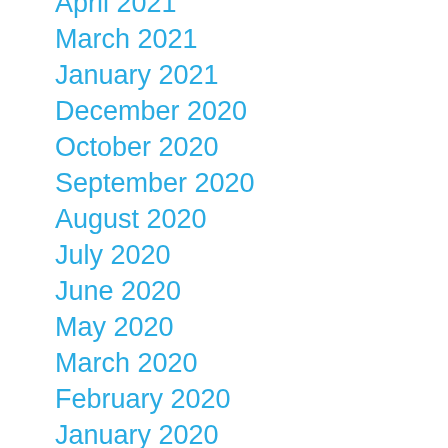April 2021
March 2021
January 2021
December 2020
October 2020
September 2020
August 2020
July 2020
June 2020
May 2020
March 2020
February 2020
January 2020
December 2019
October 2019
August 2019